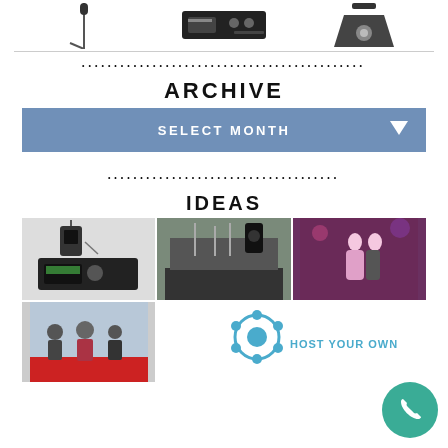[Figure (photo): Three product images at top: microphone stand, audio receiver unit, and stage lighting fixture, separated by a horizontal line]
ARCHIVE
[Figure (screenshot): Blue dropdown selector button labeled SELECT MONTH with a down arrow]
IDEAS
[Figure (photo): Grid of event/rental product photos: wireless microphone system, stage with speakers, couple dancing at wedding, red carpet event, and Host Your Own movie reel graphic]